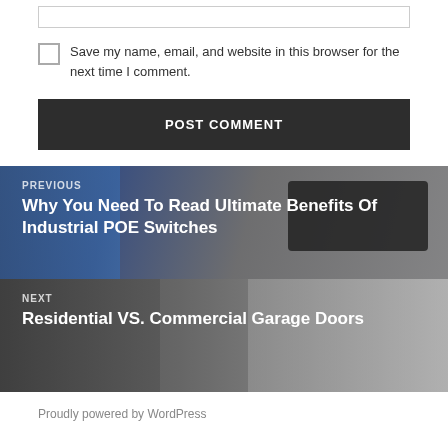[input box]
Save my name, email, and website in this browser for the next time I comment.
POST COMMENT
PREVIOUS
Why You Need To Read Ultimate Benefits Of Industrial POE Switches
NEXT
Residential VS. Commercial Garage Doors
Proudly powered by WordPress